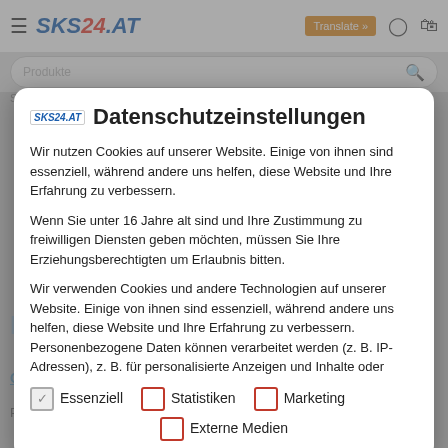SKS24.AT
Datenschutzeinstellungen
Wir nutzen Cookies auf unserer Website. Einige von ihnen sind essenziell, während andere uns helfen, diese Website und Ihre Erfahrung zu verbessern.
Wenn Sie unter 16 Jahre alt sind und Ihre Zustimmung zu freiwilligen Diensten geben möchten, müssen Sie Ihre Erziehungsberechtigten um Erlaubnis bitten.
Wir verwenden Cookies und andere Technologien auf unserer Website. Einige von ihnen sind essenziell, während andere uns helfen, diese Website und Ihre Erfahrung zu verbessern. Personenbezogene Daten können verarbeitet werden (z. B. IP-Adressen), z. B. für personalisierte Anzeigen und Inhalte oder
Essenziell
Statistiken
Marketing
Externe Medien
neutral conductor N – blue